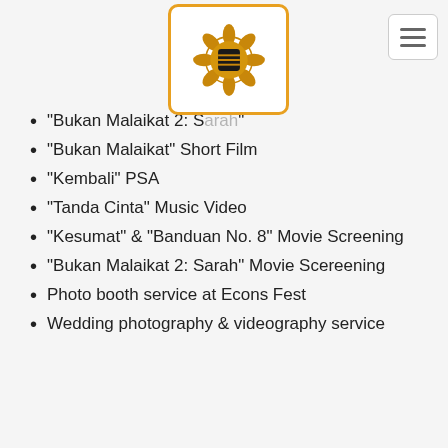[Figure (logo): Golden decorative flower/mandala logo inside a white box with orange/golden border]
"Bukan Malaikat 2: [partially obscured]"
"Bukan Malaikat" Short Film
"Kembali" PSA
"Tanda Cinta" Music Video
"Kesumat" & "Banduan No. 8" Movie Screening
"Bukan Malaikat 2: Sarah" Movie Scereening
Photo booth service at Econs Fest
Wedding photography & videography service